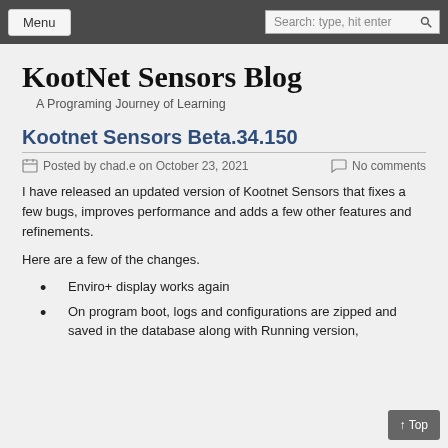Menu | Search: type, hit enter
KootNet Sensors Blog
A Programing Journey of Learning
Kootnet Sensors Beta.34.150
Posted by chad.e on October 23, 2021   No comments
I have released an updated version of Kootnet Sensors that fixes a few bugs, improves performance and adds a few other features and refinements.
Here are a few of the changes.
Enviro+ display works again
On program boot, logs and configurations are zipped and saved in the database along with Running version,